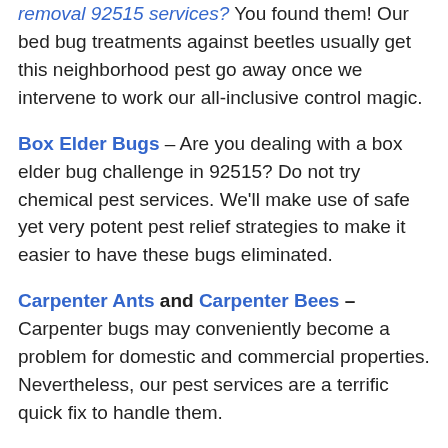removal 92515 services? You found them! Our bed bug treatments against beetles usually get this neighborhood pest go away once we intervene to work our all-inclusive control magic.
Box Elder Bugs – Are you dealing with a box elder bug challenge in 92515? Do not try chemical pest services. We'll make use of safe yet very potent pest relief strategies to make it easier to have these bugs eliminated.
Carpenter Ants and Carpenter Bees – Carpenter bugs may conveniently become a problem for domestic and commercial properties. Nevertheless, our pest services are a terrific quick fix to handle them.
Cockroaches – The leading cockroach extermination 92515 has ever seen is delivered